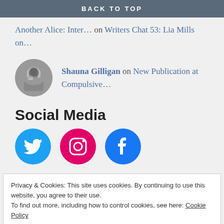BACK TO TOP
Another Alice: Inter… on Writers Chat 53: Lia Mills on…
Shauna Gilligan on New Publication at Compulsive…
Social Media
[Figure (infographic): Three social media icons: Twitter (blue circle with bird), Instagram (pink circle with camera), Facebook (blue circle with f logo)]
Privacy & Cookies: This site uses cookies. By continuing to use this website, you agree to their use.
To find out more, including how to control cookies, see here: Cookie Policy
Close and accept